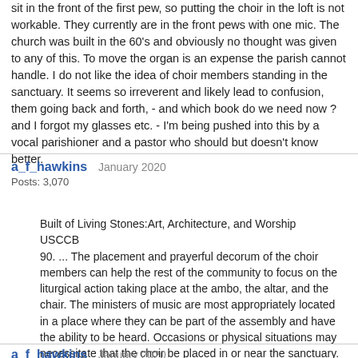sit in the front of the first pew, so putting the choir in the loft is not workable. They currently are in the front pews with one mic. The church was built in the 60's and obviously no thought was given to any of this. To move the organ is an expense the parish cannot handle. I do not like the idea of choir members standing in the sanctuary. It seems so irreverent and likely lead to confusion, them going back and forth, - and which book do we need now ? and I forgot my glasses etc. - I'm being pushed into this by a vocal parishioner and a pastor who should but doesn't know better.
a_f_hawkins   January 2020
Posts: 3,070
Built of Living Stones:Art, Architecture, and Worship
USCCB
90. ... The placement and prayerful decorum of the choir members can help the rest of the community to focus on the liturgical action taking place at the ambo, the altar, and the chair. The ministers of music are most appropriately located in a place where they can be part of the assembly and have the ability to be heard. Occasions or physical situations may necessitate that the choir be placed in or near the sanctuary. In such circumstances, the placement of the choir should never crowd or overshadow the other ministers in the sanctuary nor should it distract from the liturgical action.
a_f_hawkins   January 2020